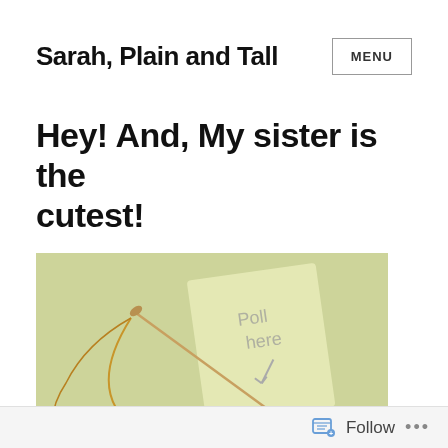Sarah, Plain and Tall
Hey! And, My sister is the cutest!
[Figure (photo): A photo showing a needle with golden/brown thread or string, with a handwritten note card that reads 'Poll here' with an arrow, placed on a surface with more string/thread below.]
Follow ...